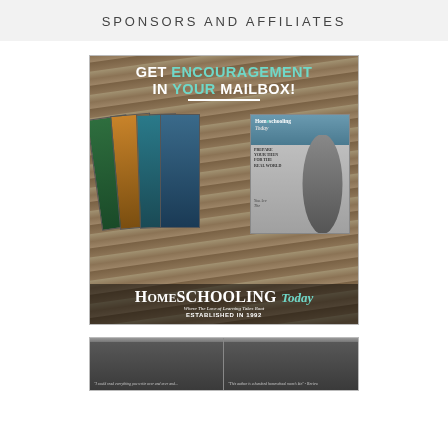SPONSORS AND AFFILIATES
[Figure (photo): Advertisement for Homeschooling Today magazine showing stacked magazine covers with text 'GET ENCOURAGEMENT IN YOUR MAILBOX!' and logo 'HOMESCHOOLING Today - Where The Love of Learning Takes Root - ESTABLISHED IN 1992']
[Figure (photo): Partial view of a book advertisement with dark cover and italic text quote partially visible]